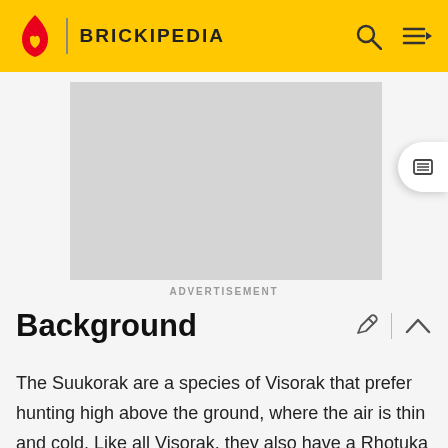BRICKIPEDIA
[Figure (other): Advertisement placeholder - grey rectangle]
ADVERTISEMENT
Background
The Suukorak are a species of Visorak that prefer hunting high above the ground, where the air is thin and cold. Like all Visorak, they also have a Rhotuka Launcher that fires spinners with the ability to create a field of electrical